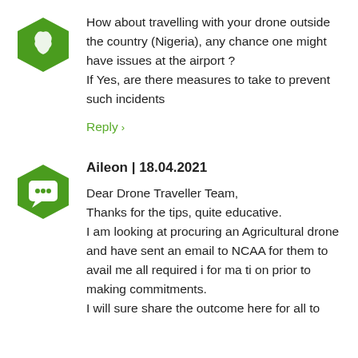[Figure (logo): Green hexagon avatar icon with white Nigeria map silhouette]
How about travelling with your drone outside the country (Nigeria), any chance one might have issues at the airport ? If Yes, are there measures to take to prevent such incidents
Reply ›
[Figure (logo): Green hexagon avatar icon with white speech bubble]
Aileon | 18.04.2021
Dear Drone Traveller Team, Thanks for the tips, quite educative. I am looking at procuring an Agricultural drone and have sent an email to NCAA for them to avail me all required i for ma ti on prior to making commitments. I will sure share the outcome here for all to